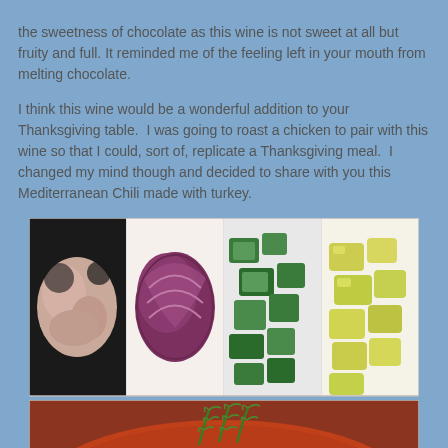the sweetness of chocolate as this wine is not sweet at all but fruity and full. It reminded me of the feeling left in your mouth from melting chocolate.
I think this wine would be a wonderful addition to your Thanksgiving table. I was going to roast a chicken to pair with this wine so that I could, sort of, replicate a Thanksgiving meal. I changed my mind though and decided to share with you this Mediterranean Chili made with turkey.
[Figure (photo): A 2x2 grid style collage of food preparation photos: top row shows raw ground turkey meat (dark pan), chopped red onion, diced zucchini, and chopped yellow/green peppers. Bottom row shows the finished Mediterranean Chili dish with garnish of dill, topped with white beans, tomatoes, and cucumber. Watermark text reads 'A Day in the Life on the Farm'.]